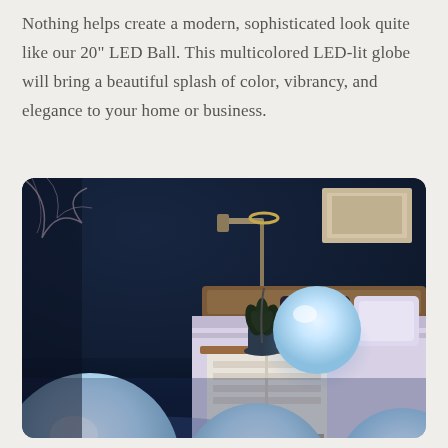Nothing helps create a modern, sophisticated look quite like our 20" LED Ball. This multicolored LED-lit globe will bring a beautiful splash of color, vibrancy, and elegance to your home or business.
[Figure (photo): A bedroom scene at night showing glowing white LED balls emitting blue-white light. One ball sits on a white wooden nightstand next to a small potted succulent plant. Several larger LED balls are visible on the floor in the foreground. The background shows a dark navy blue wall, a wall-mounted lamp, and a bed with white sheets and dark patterned pillows.]